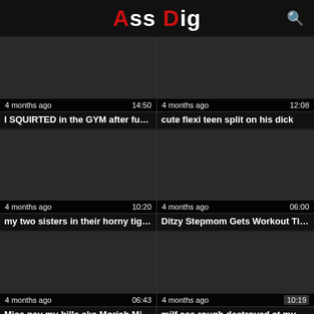Ass Dig
[Figure (screenshot): Video thumbnail placeholder, dark gray, 4 months ago, 14:50]
I SQUIRTED in the GYM after fucki...
[Figure (screenshot): Video thumbnail placeholder, dark gray, 4 months ago, 12:08]
cute flexi teen split on his dick
[Figure (screenshot): Video thumbnail placeholder, dark gray, 4 months ago, 10:20]
my two sisters in their horny tight ...
[Figure (screenshot): Video thumbnail placeholder, dark gray, 4 months ago, 06:00]
Ditzy Stepmom Gets Workout Tips ...
[Figure (screenshot): Video thumbnail placeholder, dark gray, 4 months ago, 06:43]
Miss pay my bills aka Moriah Mills ...
[Figure (screenshot): Video thumbnail placeholder, dark gray, 4 months ago, 10:19]
milf ass rough destroyed at my ba...